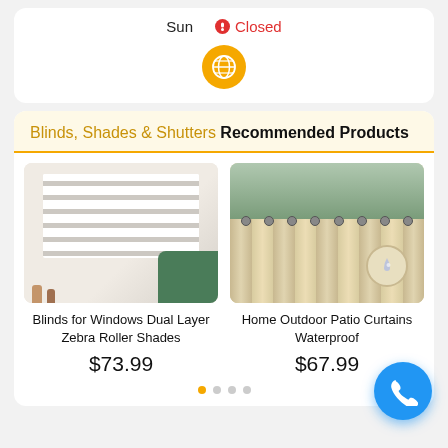Sun   🔴 Closed
[Figure (illustration): Globe icon button in gold/orange circle]
Blinds, Shades & Shutters Recommended Products
[Figure (photo): Blinds for Windows Dual Layer Zebra Roller Shades product photo]
Blinds for Windows Dual Layer Zebra Roller Shades
$73.99
[Figure (photo): Home Outdoor Patio Curtains Waterproof product photo]
Home Outdoor Patio Curtains Waterproof
$67.99